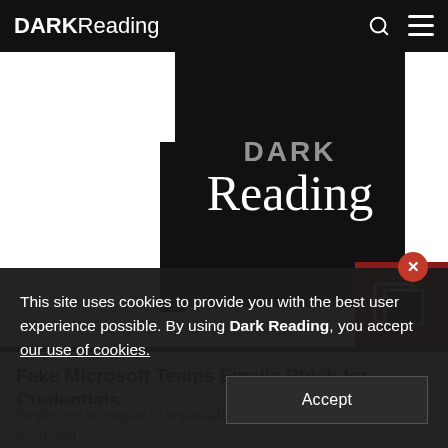DARKReading
[Figure (logo): Dark Reading logo on black background with red corner accent and newspaper icon]
Fake Microsoft Teams Emails Phish for Credentials
Employees belonging to organizations in industries such as energy, retail, and
This site uses cookies to provide you with the best user experience possible. By using Dark Reading, you accept our use of cookies.
Accept